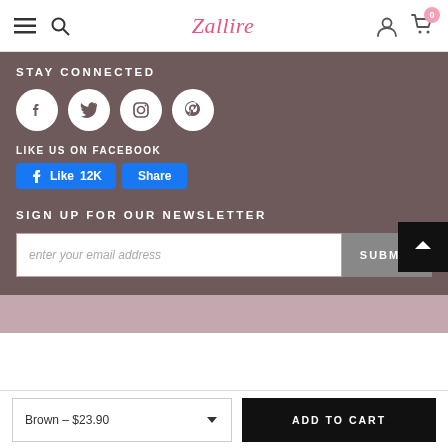Zallere — navigation header with hamburger menu, search, logo, user icon, cart with 0 items
STAY CONNECTED
[Figure (illustration): Four circular social media icons: Facebook, Twitter, Instagram, Pinterest]
LIKE US ON FACEBOOK
[Figure (infographic): Facebook Like (12K) and Share buttons]
SIGN UP FOR OUR NEWSLETTER
[Figure (infographic): Email input field with placeholder 'enter your email address' and SUBMIT button]
Brown – $23.90  ADD TO CART